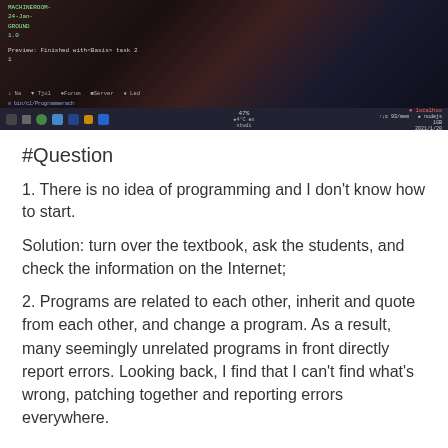[Figure (screenshot): Screenshot of a Linux desktop environment showing a terminal/file manager window with green text on dark background, featuring an anime-style wallpaper with a character in dark tones, and a taskbar at the bottom with various icons and system tray.]
#Question
1. There is no idea of programming and I don't know how to start.
Solution: turn over the textbook, ask the students, and check the information on the Internet;
2. Programs are related to each other, inherit and quote from each other, and change a program. As a result, many seemingly unrelated programs in front directly report errors. Looking back, I find that I can't find what's wrong, patching together and reporting errors everywhere.